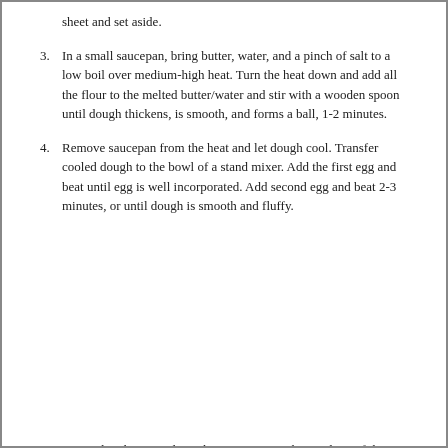sheet and set aside.
3. In a small saucepan, bring butter, water, and a pinch of salt to a low boil over medium-high heat. Turn the heat down and add all the flour to the melted butter/water and stir with a wooden spoon until dough thickens, is smooth, and forms a ball, 1-2 minutes.
4. Remove saucepan from the heat and let dough cool. Transfer cooled dough to the bowl of a stand mixer. Add the first egg and beat until egg is well incorporated. Add second egg and beat 2-3 minutes, or until dough is smooth and fluffy.
5. Scoop dough into a plastic baggie or piping bag and cut of the tip/corner. Pipe small rounds of dough, about 1/2 tablespoon (or 1 tablespoon for larger) onto parchment